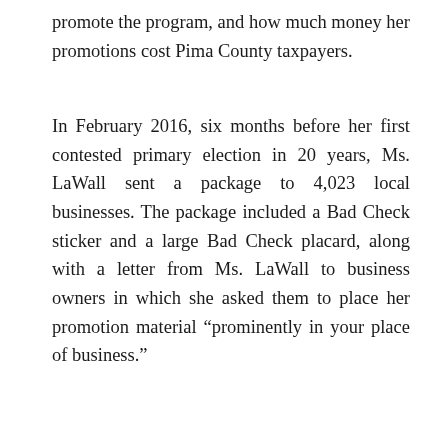promote the program, and how much money her promotions cost Pima County taxpayers.
In February 2016, six months before her first contested primary election in 20 years, Ms. LaWall sent a package to 4,023 local businesses. The package included a Bad Check sticker and a large Bad Check placard, along with a letter from Ms. LaWall to business owners in which she asked them to place her promotion material “prominently in your place of business.”